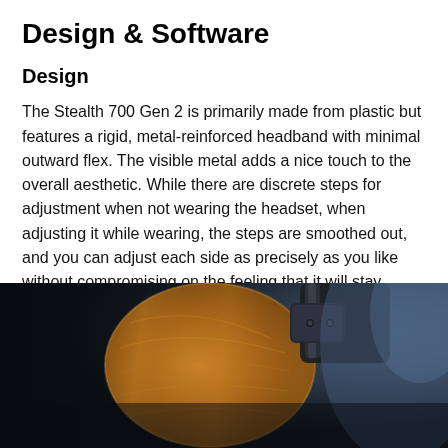Design & Software
Design
The Stealth 700 Gen 2 is primarily made from plastic but features a rigid, metal-reinforced headband with minimal outward flex. The visible metal adds a nice touch to the overall aesthetic. While there are discrete steps for adjustment when not wearing the headset, when adjusting it while wearing, the steps are smoothed out, and you can adjust each side as precisely as you like without compromising on the feeling that it will stay where you want it.
[Figure (photo): Close-up photo of a wooden-cup headphone earcup with dark metal headband joint, set against a dark background with a blurred blue/grey background element.]